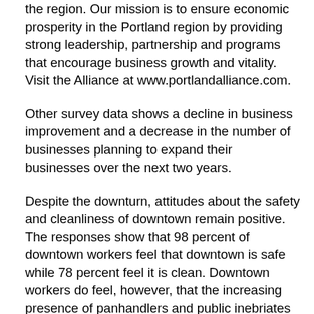the region. Our mission is to ensure economic prosperity in the Portland region by providing strong leadership, partnership and programs that encourage business growth and vitality. Visit the Alliance at www.portlandalliance.com.
Other survey data shows a decline in business improvement and a decrease in the number of businesses planning to expand their businesses over the next two years.
Despite the downturn, attitudes about the safety and cleanliness of downtown remain positive. The responses show that 98 percent of downtown workers feel that downtown is safe while 78 percent feel it is clean. Downtown workers do feel, however, that the increasing presence of panhandlers and public inebriates exerts a significant detrimental impact on downtown, citing it as the top factor that needs improvement. In earlier surveys, construction was the most pressing concern. In terms of how employees are